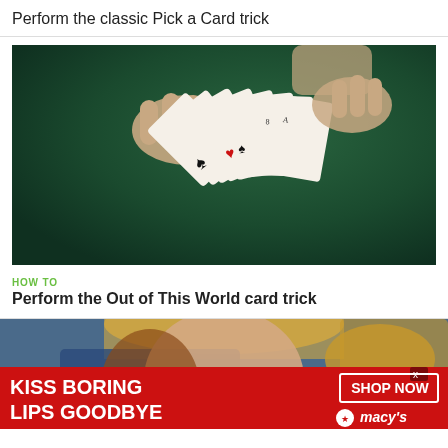Perform the classic Pick a Card trick
[Figure (photo): Hands holding a fan of playing cards spread out against a dark green felt background]
HOW TO
Perform the Out of This World card trick
[Figure (photo): Woman with blonde hair and red lipstick — Macy's advertisement banner with text: KISS BORING LIPS GOODBYE, SHOP NOW, macy's star logo]